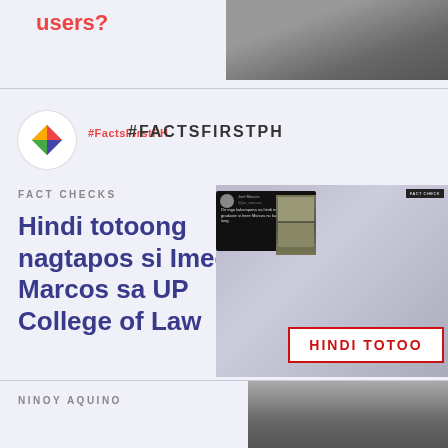users?
[Figure (photo): Photo of car interior/dashboard from above]
[Figure (logo): FactsFirstPH logo circle with colored diamond icon]
#FactsFirstPH
#FACTSFIRSTPH
FACT CHECKS
Hindi totoong nagtapos si Imee Marcos sa UP College of Law
[Figure (screenshot): Fact-check article image showing tweet about Imee Marcos and HINDI TOTOO (Not True) banner overlay]
NINOY AQUINO
[Figure (photo): Black and white photo of people, Ninoy Aquino related]